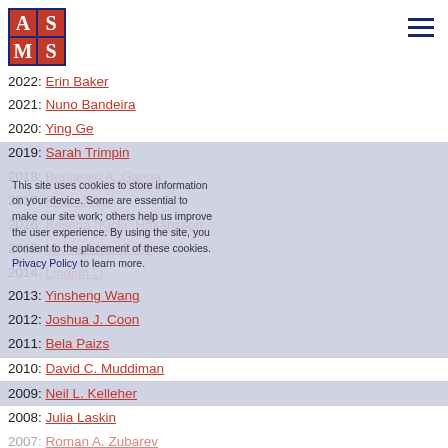[Figure (logo): ASMS logo - red and blue grid with letters A, S, M, S]
2022: Erin Baker
2021: Nuno Bandeira
2020: Ying Ge
2019: Sarah Trimpin
2018: Benjamin A. Garcia
2017: Ryan Julian
2016: Kristina "Kicki" Håkansson
2015: Michael MacCoss
2014: Lingjun Li
2013: Yinsheng Wang
2012: Joshua J. Coon
2011: Bela Paizs
2010: David C. Muddiman
2009: Neil L. Kelleher
2008: Julia Laskin
2007: Roman A. Zubarev